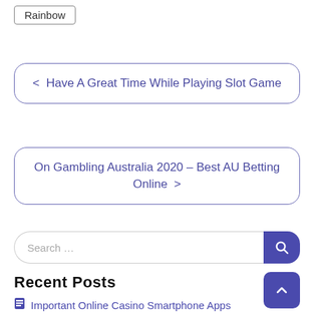Rainbow
< Have A Great Time While Playing Slot Game
On Gambling Australia 2020 – Best AU Betting Online >
Search ...
Recent Posts
Important Online Casino Smartphone Apps